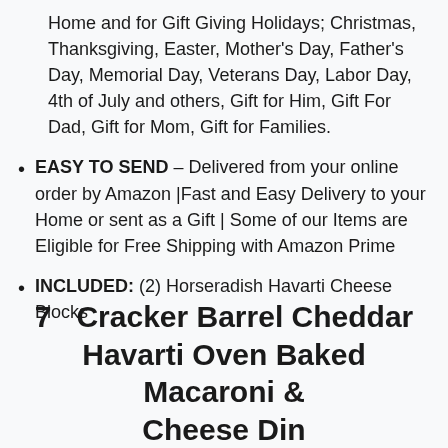Home and for Gift Giving Holidays; Christmas, Thanksgiving, Easter, Mother's Day, Father's Day, Memorial Day, Veterans Day, Labor Day, 4th of July and others, Gift for Him, Gift For Dad, Gift for Mom, Gift for Families.
EASY TO SEND – Delivered from your online order by Amazon |Fast and Easy Delivery to your Home or sent as a Gift | Some of our Items are Eligible for Free Shipping with Amazon Prime
INCLUDED: (2) Horseradish Havarti Cheese Blocks
7   Cracker Barrel Cheddar Havarti Oven Baked Macaroni & Cheese Dinner (14.5oz Box)